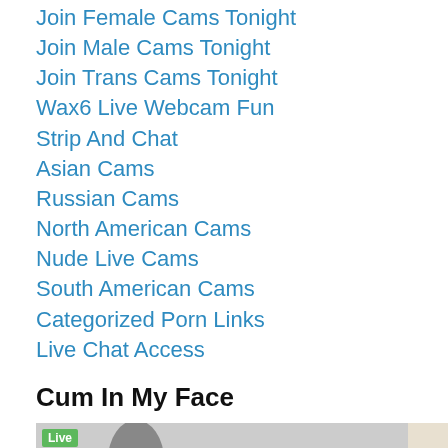Join Female Cams Tonight
Join Male Cams Tonight
Join Trans Cams Tonight
Wax6 Live Webcam Fun
Strip And Chat
Asian Cams
Russian Cams
North American Cams
Nude Live Cams
South American Cams
Categorized Porn Links
Live Chat Access
Cum In My Face
[Figure (photo): Partial view of a live webcam stream showing a person with dark hair and a green Live badge overlay]